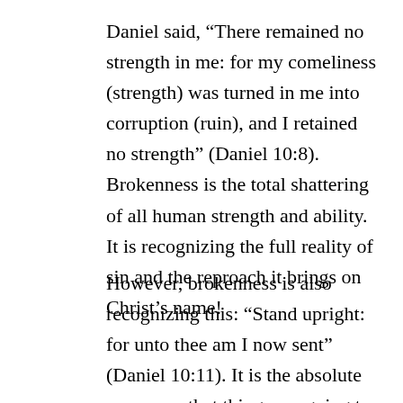Daniel said, “There remained no strength in me: for my comeliness (strength) was turned in me into corruption (ruin), and I retained no strength” (Daniel 10:8). Brokenness is the total shattering of all human strength and ability. It is recognizing the full reality of sin and the reproach it brings on Christ’s name!
However, brokenness is also recognizing this: “Stand upright: for unto thee am I now sent” (Daniel 10:11). It is the absolute assurance that things are going to change—that healing and rebuilding are going to come. Your ruins are